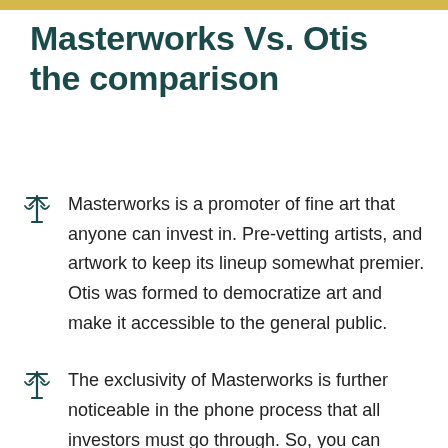Masterworks Vs. Otis the comparison
Masterworks is a promoter of fine art that anyone can invest in. Pre-vetting artists, and artwork to keep its lineup somewhat premier. Otis was formed to democratize art and make it accessible to the general public.
The exclusivity of Masterworks is further noticeable in the phone process that all investors must go through. So, you can request